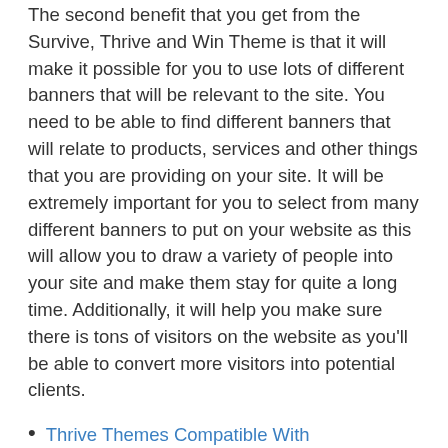The second benefit that you get from the Survive, Thrive and Win Theme is that it will make it possible for you to use lots of different banners that will be relevant to the site. You need to be able to find different banners that will relate to products, services and other things that you are providing on your site. It will be extremely important for you to select from many different banners to put on your website as this will allow you to draw a variety of people into your site and make them stay for quite a long time. Additionally, it will help you make sure there is tons of visitors on the website as you'll be able to convert more visitors into potential clients.
Thrive Themes Compatible With Woocommerce?
Thrive Architect Delete Revisions